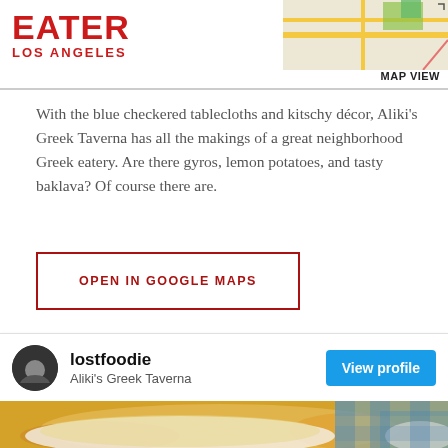EATER LOS ANGELES
[Figure (map): Small map thumbnail in upper right corner with MAP VIEW label]
With the blue checkered tablecloths and kitschy décor, Aliki's Greek Taverna has all the makings of a great neighborhood Greek eatery. Are there gyros, lemon potatoes, and tasty baklava? Of course there are.
OPEN IN GOOGLE MAPS
5862 Arbor Vitae St, Los Angeles, CA 90045
(310) 645-9555
Visit Website
lostfoodie
Aliki's Greek Taverna
[Figure (photo): Food photo showing a plate of Greek food on a blue checkered tablecloth]